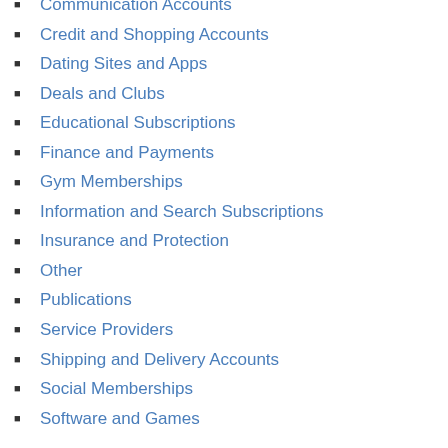Communication Accounts
Credit and Shopping Accounts
Dating Sites and Apps
Deals and Clubs
Educational Subscriptions
Finance and Payments
Gym Memberships
Information and Search Subscriptions
Insurance and Protection
Other
Publications
Service Providers
Shipping and Delivery Accounts
Social Memberships
Software and Games